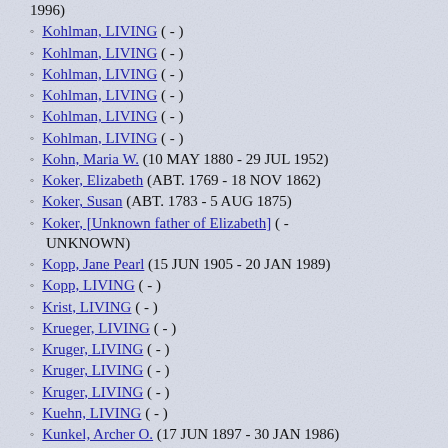1996)
Kohlman, LIVING ( - )
Kohlman, LIVING ( - )
Kohlman, LIVING ( - )
Kohlman, LIVING ( - )
Kohlman, LIVING ( - )
Kohlman, LIVING ( - )
Kohn, Maria W. (10 MAY 1880 - 29 JUL 1952)
Koker, Elizabeth (ABT. 1769 - 18 NOV 1862)
Koker, Susan (ABT. 1783 - 5 AUG 1875)
Koker, [Unknown father of Elizabeth] ( - UNKNOWN)
Kopp, Jane Pearl (15 JUN 1905 - 20 JAN 1989)
Kopp, LIVING ( - )
Krist, LIVING ( - )
Krueger, LIVING ( - )
Kruger, LIVING ( - )
Kruger, LIVING ( - )
Kruger, LIVING ( - )
Kuehn, LIVING ( - )
Kunkel, Archer O. (17 JUN 1897 - 30 JAN 1986)
Kunkel, [Unknown husband of Estella Goss] ( - UNKNOWN)
Kunz, LIVING ( - )
Kurz, Jerry J. (4 JUN 1914 - 8 JUL 1992)